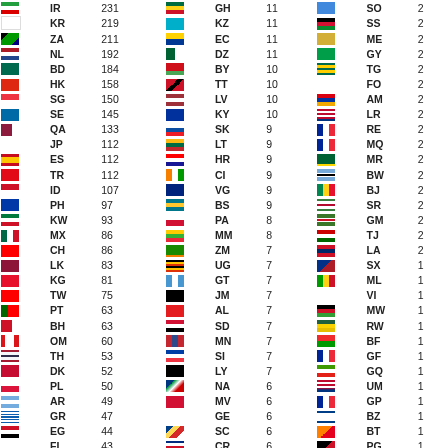| Flag | Code | Count | Flag | Code | Count | Flag | Code | Count |
| --- | --- | --- | --- | --- | --- | --- | --- | --- |
| IR | 231 | GH | 11 | SO | 2 |
| KR | 219 | KZ | 11 | SS | 2 |
| ZA | 211 | EC | 11 | ME | 2 |
| NL | 192 | DZ | 11 | GY | 2 |
| BD | 184 | BY | 10 | TG | 2 |
| HK | 158 | TT | 10 | FO | 2 |
| SG | 150 | LV | 10 | AM | 2 |
| SE | 145 | KY | 10 | LR | 2 |
| QA | 133 | SK | 9 | RE | 2 |
| JP | 112 | LT | 9 | MQ | 2 |
| ES | 112 | HR | 9 | MR | 2 |
| TR | 112 | CI | 9 | BW | 2 |
| ID | 107 | VG | 9 | BJ | 2 |
| PH | 97 | BS | 9 | SR | 2 |
| KW | 93 | PA | 8 | GM | 2 |
| MX | 86 | MM | 8 | TJ | 2 |
| CH | 86 | ZM | 7 | LA | 2 |
| LK | 83 | UG | 7 | SX | 1 |
| KG | 81 | GT | 7 | ML | 1 |
| TW | 75 | JM | 7 | VI | 1 |
| PT | 63 | AL | 7 | MW | 1 |
| BH | 63 | SD | 7 | RW | 1 |
| OM | 60 | MN | 7 | BF | 1 |
| TH | 53 | SI | 7 | GF | 1 |
| DK | 52 | LY | 7 | GQ | 1 |
| PL | 50 | NA | 6 | UM | 1 |
| AR | 49 | MV | 6 | GP | 1 |
| GR | 47 | GE | 6 | BZ | 1 |
| EG | 44 | SC | 6 | BT | 1 |
| FI | 43 | CR | 6 | PG | 1 |